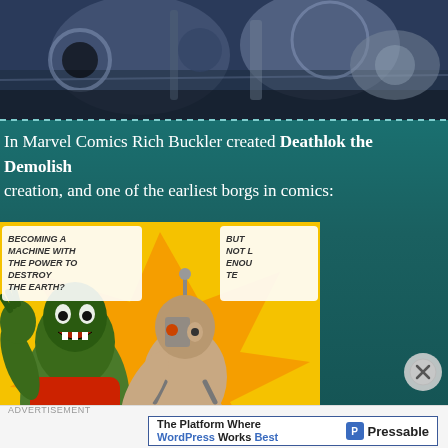[Figure (photo): Top portion showing mechanical/robotic imagery, dark metallic tones with blue and silver elements]
In Marvel Comics Rich Buckler created Deathlok the Demolish[er], creation, and one of the earliest borgs in comics:
[Figure (illustration): Comic book panel showing Deathlok the Demolisher character art with superhero figures in action poses, colorful comic style with speech bubbles reading 'MACHINE WITH THE POWER TO DESTROY THE EARTH?' and 'BUT NOT L[ONG] ENOU[GH] TE[LL]']
The Platform Where WordPress Works Best
[Figure (logo): Pressable logo - blue P icon with text 'Pressable']